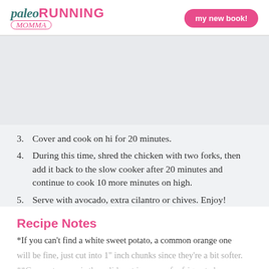paleo RUNNING MOMMA | my new book!
[Figure (photo): Food photo placeholder (gray area)]
3. Cover and cook on hi for 20 minutes.
4. During this time, shred the chicken with two forks, then add it back to the slow cooker after 20 minutes and continue to cook 10 more minutes on high.
5. Serve with avocado, extra cilantro or chives. Enjoy!
Recipe Notes
*If you can't find a white sweet potato, a common orange one will be fine, just cut into 1" inch chunks since they're a bit softer.
**Coconut cream is the solid part in a can of refrigerated